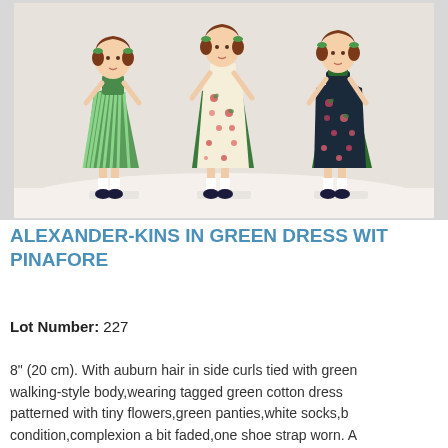[Figure (photo): Three Alexander-Kins dolls standing side by side: left doll in green striped dress, center doll in floral pinafore over green dress, right doll in dark floral dress with green underskirt. All have dark shoes and white socks.]
ALEXANDER-KINS IN GREEN DRESS WITH PINAFORE
Lot Number: 227
8" (20 cm). With auburn hair in side curls tied with green walking-style body,wearing tagged green cotton dress patterned with tiny flowers,green panties,white socks,b condition,complexion a bit faded,one shoe strap worn. A